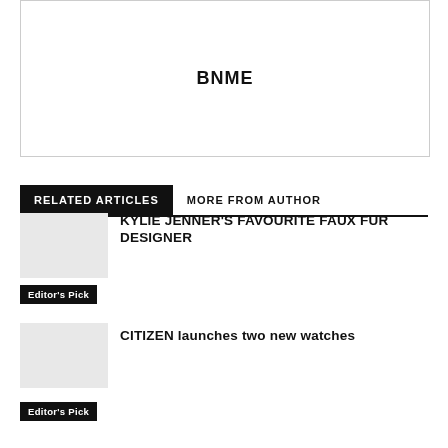[Figure (other): White box with centered bold text 'BNME', representing an advertisement or placeholder image block]
RELATED ARTICLES   MORE FROM AUTHOR
KYLIE JENNER'S FAVOURITE FAUX FUR DESIGNER
Editor's Pick
CITIZEN launches two new watches
Editor's Pick